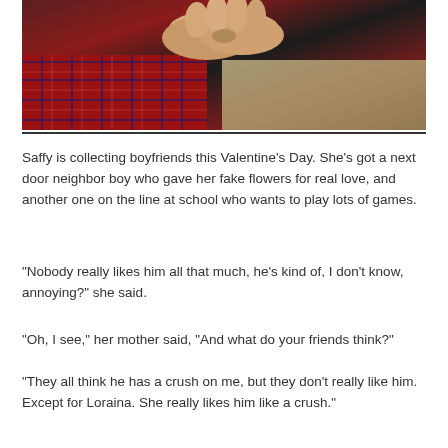[Figure (photo): Close-up photo of a child's hands holding something small, wearing a red plaid flannel shirt, with a blurred background of items on a surface.]
Saffy is collecting boyfriends this Valentine's Day. She's got a next door neighbor boy who gave her fake flowers for real love, and another one on the line at school who wants to play lots of games.
"Nobody really likes him all that much, he's kind of, I don't know, annoying?" she said.
"Oh, I see," her mother said, "And what do your friends think?"
"They all think he has a crush on me, but they don't really like him. Except for Loraina. She really likes him like a crush."